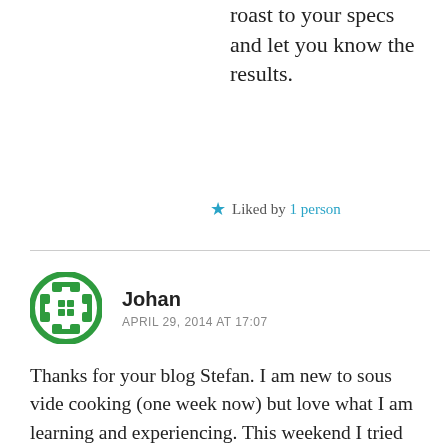roast to your specs and let you know the results.
Liked by 1 person
Johan
APRIL 29, 2014 AT 17:07
Thanks for your blog Stefan. I am new to sous vide cooking (one week now) but love what I am learning and experiencing. This weekend I tried boneless pork loin chops, about an inch thick, 135*F for 2 hours in a vacuum seal, then seared afterward. Everything was wonderful, except I used a pork chop spice from a specialty spice shop on the chops before sealing the bag. The salt in the spice brined